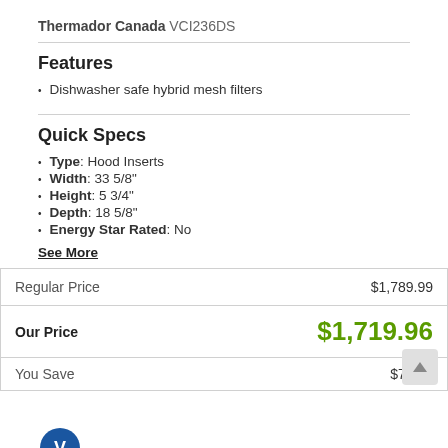Thermador Canada VCI236DS
Features
Dishwasher safe hybrid mesh filters
Quick Specs
Type: Hood Inserts
Width: 33 5/8"
Height: 5 3/4"
Depth: 18 5/8"
Energy Star Rated: No
See More
| Label | Price |
| --- | --- |
| Regular Price | $1,789.99 |
| Our Price | $1,719.96 |
| You Save | $70.03 |